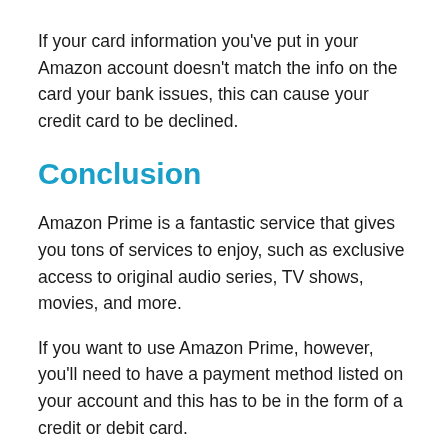If your card information you've put in your Amazon account doesn't match the info on the card your bank issues, this can cause your credit card to be declined.
Conclusion
Amazon Prime is a fantastic service that gives you tons of services to enjoy, such as exclusive access to original audio series, TV shows, movies, and more.
If you want to use Amazon Prime, however, you'll need to have a payment method listed on your account and this has to be in the form of a credit or debit card.
If you've changed your mind about using Amazon Prime, it's really easy to remove your credit card details. Or, if you want to keep using Prime, you'll have to update your